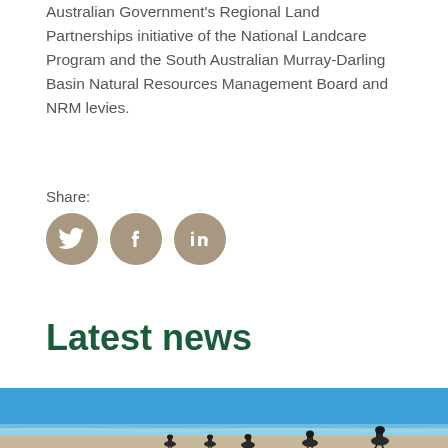Australian Government's Regional Land Partnerships initiative of the National Landcare Program and the South Australian Murray-Darling Basin Natural Resources Management Board and NRM levies.
Share:
[Figure (infographic): Three social media share icons: Twitter (bird), Facebook (f), LinkedIn (in), rendered as circular brownish-grey buttons]
Latest news
[Figure (photo): A beach scene under a clear blue sky with emus walking along the shoreline near the water's edge]